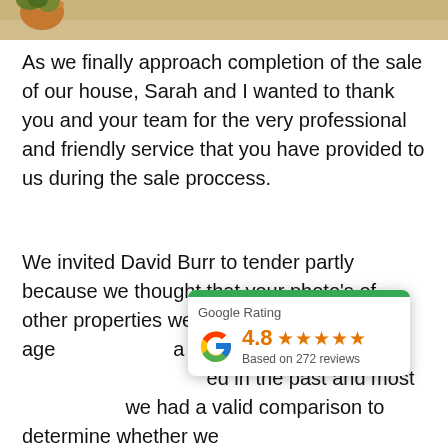[Figure (photo): Top strip of a photo showing sandy/gravel ground with a plant pot visible at the top left]
As we finally approach completion of the sale of our house, Sarah and I wanted to thank you and your team for the very professional and friendly service that you have provided to us during the sale proccess.
We invited David Burr to tender partly because we thought that your photo's of other properties were a cut above other age[ncies. We also wanted] a valuation to compare [with ones we had receiv]ed in the past and most [importantly to ensure] we had a valid comparison to determine whether we
[Figure (infographic): Google Rating overlay widget showing: Google Rating, 4.8 stars, Based on 272 reviews]